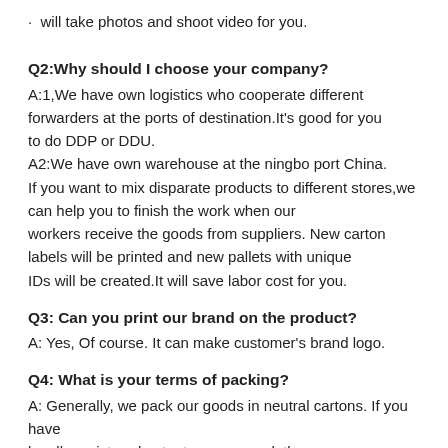will take photos and shoot video for you.
Q2:Why should I choose your company?
A:1,We have own logistics who cooperate different forwarders at the ports of destination.It's good for you to do DDP or DDU.
A2:We have own warehouse at the ningbo port China.
If you want to mix disparate products to different stores,we can help you to finish the work when our workers receive the goods from suppliers. New carton labels will be printed and new pallets with unique IDs will be created.It will save labor cost for you.
Q3: Can you print our brand on the product?
A: Yes, Of course. It can make customer's brand logo.
Q4: What is your terms of packing?
A: Generally, we pack our goods in neutral cartons. If you have legally registered patent, we can pack the